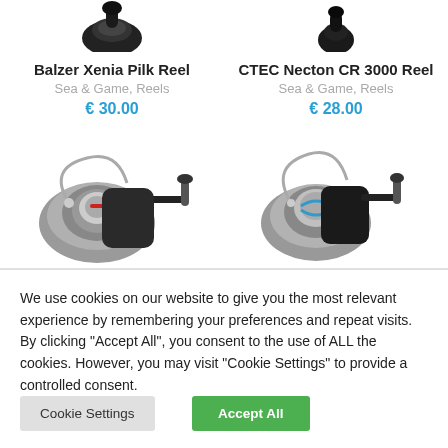[Figure (photo): Top portion of fishing reel for Balzer Xenia Pilk Reel product]
[Figure (photo): Top portion of fishing reel for CTEC Necton CR 3000 Reel product]
Balzer Xenia Pilk Reel
Sea & Game, Reels
€ 30.00
CTEC Necton CR 3000 Reel
Sea & Game, Reels
€ 28.00
[Figure (photo): Full fishing reel product photo for left product]
[Figure (photo): Full fishing reel product photo for right product]
We use cookies on our website to give you the most relevant experience by remembering your preferences and repeat visits. By clicking "Accept All", you consent to the use of ALL the cookies. However, you may visit "Cookie Settings" to provide a controlled consent.
Cookie Settings
Accept All